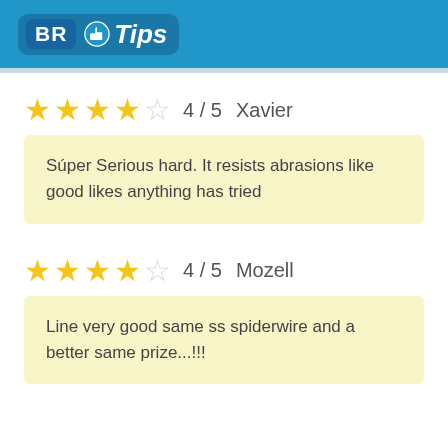BR Tips
4 / 5  Xavier
Súper Serious hard. It resists abrasions like good likes anything has tried
4 / 5  Mozell
Line very good same ss spiderwire and a better same prize...!!!